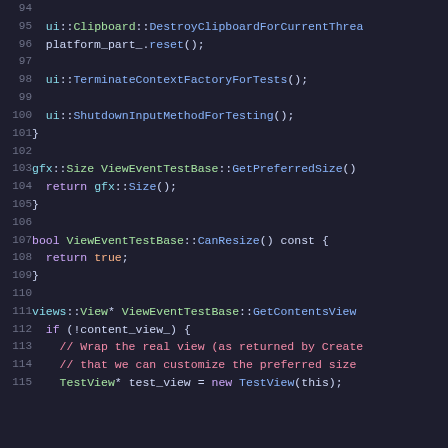[Figure (screenshot): Source code viewer showing C++ code lines 94-115, dark theme editor with syntax highlighting. Lines show class methods including DestroyClipboardForCurrentThread, TerminateContextFactoryForTests, ShutdownInputMethodForTesting, GetPreferredSize, CanResize, and GetContentsView with associated code bodies.]